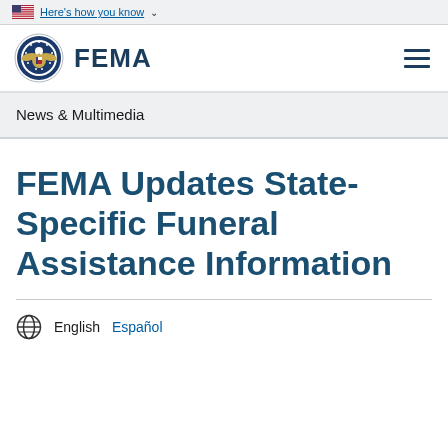Here's how you know
[Figure (logo): FEMA logo with DHS seal and FEMA wordmark]
News & Multimedia
FEMA Updates State-Specific Funeral Assistance Information
English  Español